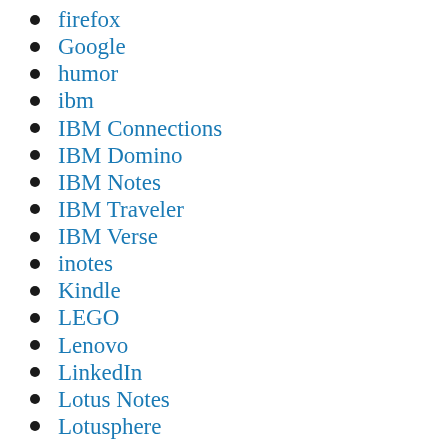firefox
Google
humor
ibm
IBM Connections
IBM Domino
IBM Notes
IBM Traveler
IBM Verse
inotes
Kindle
LEGO
Lenovo
LinkedIn
Lotus Notes
Lotusphere